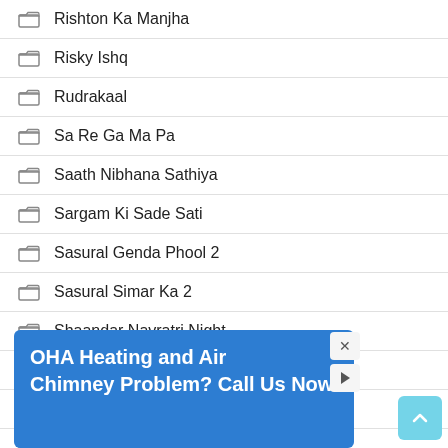Rishton Ka Manjha
Risky Ishq
Rudrakaal
Sa Re Ga Ma Pa
Saath Nibhana Sathiya
Sargam Ki Sade Sati
Sasural Genda Phool 2
Sasural Simar Ka 2
Shaandar Navratri Night
Shadi Mubarak
Shakti
Shark Tank India
Sha…
Shu…
[Figure (other): Advertisement overlay: blue banner reading 'OHA Heating and Air Chimney Problem? Call Us Now' with close (X) and play buttons, and a light blue scroll-to-top arrow button at bottom right]